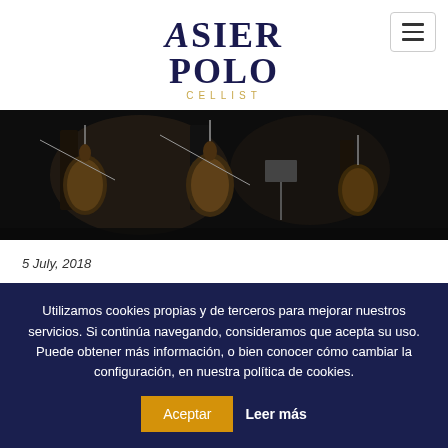[Figure (logo): Asier Polo Cellist logo in dark navy with italic stylized A, and 'CELLIST' in gold below]
[Figure (photo): Dark orchestra performance photo showing musicians with cellos and string instruments on stage]
5 July, 2018
“An emotional and intense evening”: chronicle of Asier
Utilizamos cookies propias y de terceros para mejorar nuestros servicios. Si continúa navegando, consideramos que acepta su uso. Puede obtener más información, o bien conocer cómo cambiar la configuración, en nuestra política de cookies.
Aceptar
Leer más